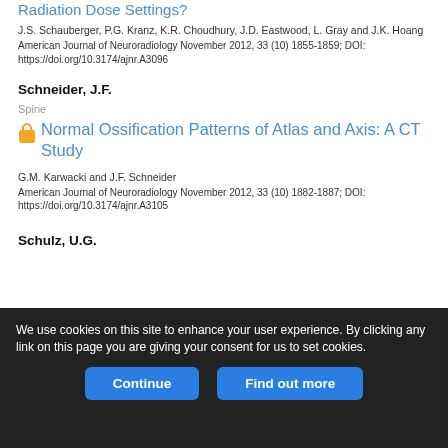Radiation Dose Settings?
J.S. Schauberger, P.G. Kranz, K.R. Choudhury, J.D. Eastwood, L. Gray and J.K. Hoang
American Journal of Neuroradiology November 2012, 33 (10) 1855-1859; DOI: https://doi.org/10.3174/ajnr.A3096
Schneider, J.F.
Spine
Normal Ossification Patterns of Atlas and Axis: A CT Study
G.M. Karwacki and J.F. Schneider
American Journal of Neuroradiology November 2012, 33 (10) 1882-1887; DOI: https://doi.org/10.3174/ajnr.A3105
Schulz, U.G.
We use cookies on this site to enhance your user experience. By clicking any link on this page you are giving your consent for us to set cookies.